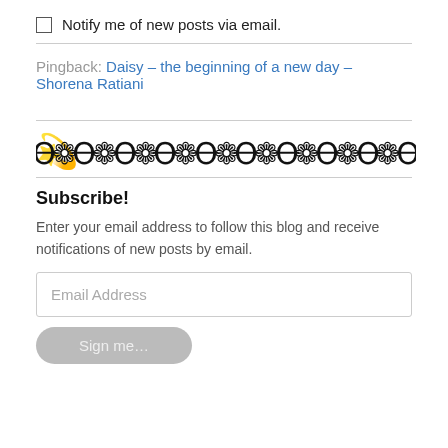Notify me of new posts via email.
Pingback: Daisy – the beginning of a new day – Shorena Ratiani
[Figure (illustration): Decorative ornamental divider made of repeating scroll and flower motifs in black.]
Subscribe!
Enter your email address to follow this blog and receive notifications of new posts by email.
Email Address